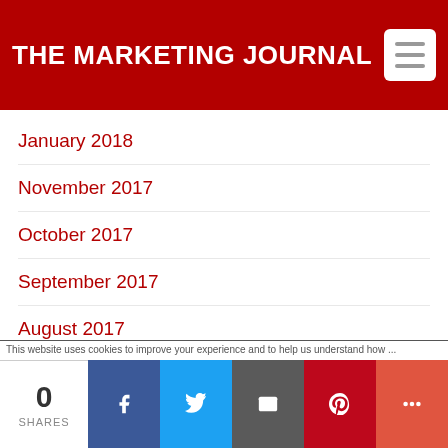THE MARKETING JOURNAL
January 2018
November 2017
October 2017
September 2017
August 2017
July 2017
June 2017
May 2017
0 SHARES  [Facebook] [Twitter] [Email] [Pinterest] [More]